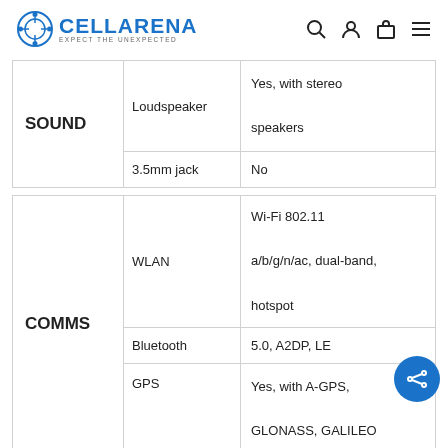CELLARENA — EXPECT THE UNEXPECTED
| Category | Feature | Value |
| --- | --- | --- |
| SOUND | Loudspeaker | Yes, with stereo speakers |
| SOUND | 3.5mm jack | No |
| Category | Feature | Value |
| --- | --- | --- |
| COMMS | WLAN | Wi-Fi 802.11 a/b/g/n/ac, dual-band, hotspot |
| COMMS | Bluetooth | 5.0, A2DP, LE |
| COMMS | GPS | Yes, with A-GPS, GLONASS, GALILEO |